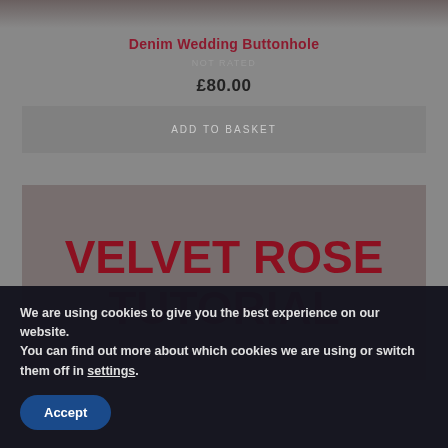[Figure (photo): Top portion of a product image, partially cropped]
Denim Wedding Buttonhole
NOT RATED
£80.00
ADD TO BASKET
VELVET ROSE TUTORIAL
We are using cookies to give you the best experience on our website.
You can find out more about which cookies we are using or switch them off in settings.
Accept